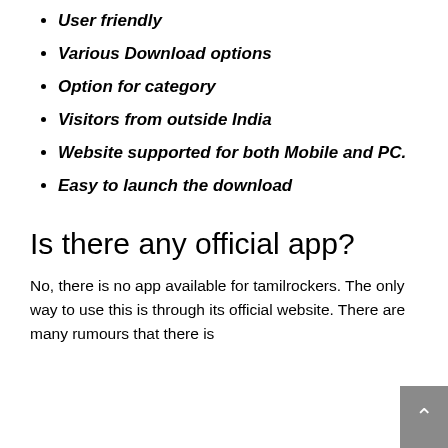User friendly
Various Download options
Option for category
Visitors from outside India
Website supported for both Mobile and PC.
Easy to launch the download
Is there any official app?
No, there is no app available for tamilrockers. The only way to use this is through its official website. There are many rumours that there is